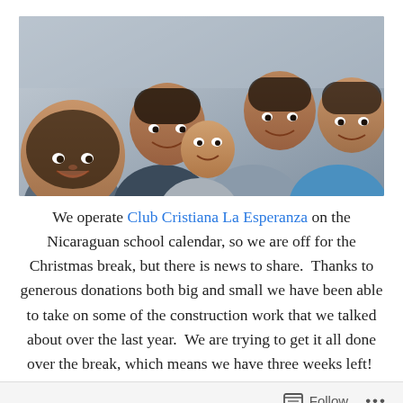[Figure (photo): Group selfie photo of a man and several children smiling, taken outdoors.]
We operate Club Cristiana La Esperanza on the Nicaraguan school calendar, so we are off for the Christmas break, but there is news to share.  Thanks to generous donations both big and small we have been able to take on some of the construction work that we talked about over the last year.  We are trying to get it all done over the break, which means we have three weeks left!  The children are going to be so excited to see it all!
Here is what we are doing.  In the main education building we are knocking down walls and expanding the sizes of
Follow  ...